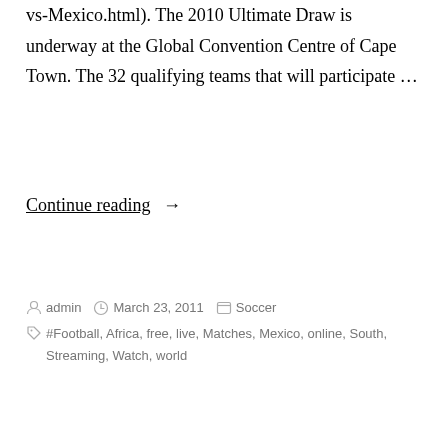vs-Mexico.html). The 2010 Ultimate Draw is underway at the Global Convention Centre of Cape Town. The 32 qualifying teams that will participate …
Continue reading →
by admin  March 23, 2011  Soccer  #Football, Africa, free, live, Matches, Mexico, online, South, Streaming, Watch, world